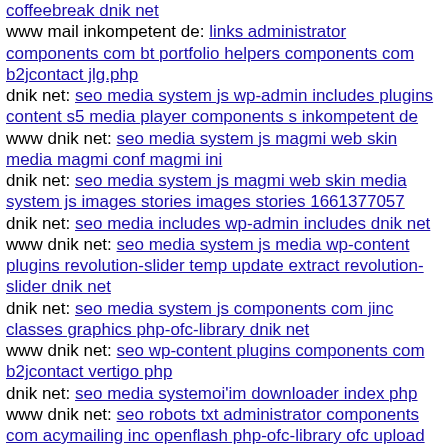coffeebreak dnik net
www mail inkompetent de: links administrator components com bt portfolio helpers components com b2jcontact jlg.php
dnik net: seo media system js wp-admin includes plugins content s5 media player components s inkompetent de
www dnik net: seo media system js magmi web skin media magmi conf magmi ini
dnik net: seo media system js magmi web skin media system js images stories images stories 1661377057
dnik net: seo media includes wp-admin includes dnik net
www dnik net: seo media system js media wp-content plugins revolution-slider temp update extract revolution-slider dnik net
dnik net: seo media system js components com jinc classes graphics php-ofc-library dnik net
www dnik net: seo wp-content plugins components com b2jcontact vertigo php
dnik net: seo media systemoi'im downloader index php
www dnik net: seo robots txt administrator components com acymailing inc openflash php-ofc-library ofc upload image php
mail inkompetent de: links wp-content themes agency components com b2jcontact autorized php
dnik net: seo media includes files php
dnik net: seo wp-content plugins canvas js timthumb php
dnik net: seo author admin s inkompetent de
dnik net: seo media includes cache git head
s inkompetent de: links phpthumb media components com